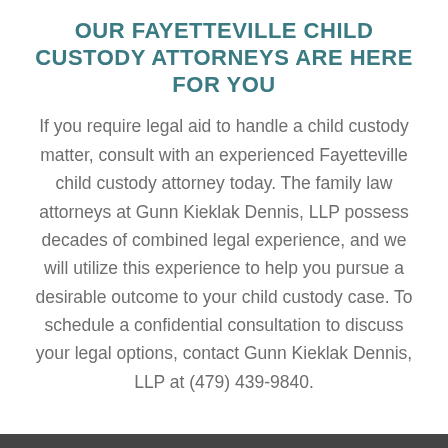OUR FAYETTEVILLE CHILD CUSTODY ATTORNEYS ARE HERE FOR YOU
If you require legal aid to handle a child custody matter, consult with an experienced Fayetteville child custody attorney today. The family law attorneys at Gunn Kieklak Dennis, LLP possess decades of combined legal experience, and we will utilize this experience to help you pursue a desirable outcome to your child custody case. To schedule a confidential consultation to discuss your legal options, contact Gunn Kieklak Dennis, LLP at (479) 439-9840.